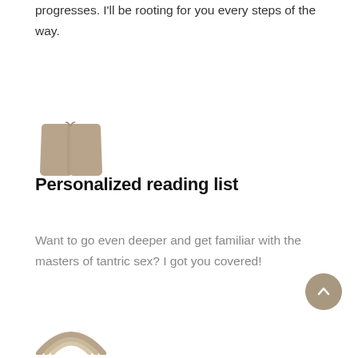progresses. I'll be rooting for you every steps of the way.
[Figure (illustration): Open book icon in tan/beige color]
Personalized reading list
Want to go even deeper and get familiar with the masters of tantric sex? I got you covered!
[Figure (illustration): Scroll to top button — circular tan/beige button with upward arrow]
[Figure (illustration): Partial arc/rainbow icon in tan/beige color at bottom of page]